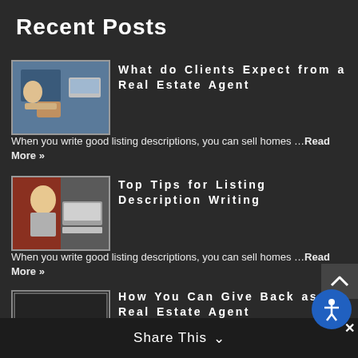Recent Posts
[Figure (photo): Person at desk, viewed from above, with papers]
What do Clients Expect from a Real Estate Agent
When you write good listing descriptions, you can sell homes …Read More »
[Figure (photo): Woman sitting at desk with documents and laptop]
Top Tips for Listing Description Writing
When you write good listing descriptions, you can sell homes …Read More »
[Figure (photo): Blank/placeholder image]
How You Can Give Back as a Real Estate Agent
If you want to help out your community, you can … Read More »
Share This ∨